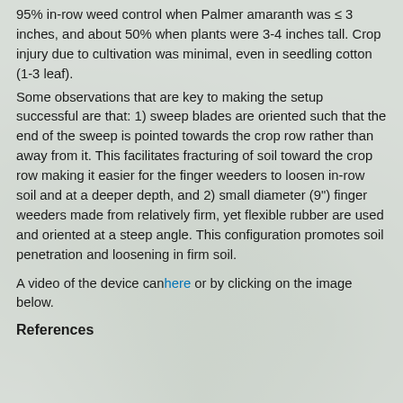95% in-row weed control when Palmer amaranth was ≤ 3 inches, and about 50% when plants were 3-4 inches tall. Crop injury due to cultivation was minimal, even in seedling cotton (1-3 leaf).
Some observations that are key to making the setup successful are that: 1) sweep blades are oriented such that the end of the sweep is pointed towards the crop row rather than away from it. This facilitates fracturing of soil toward the crop row making it easier for the finger weeders to loosen in-row soil and at a deeper depth, and 2) small diameter (9") finger weeders made from relatively firm, yet flexible rubber are used and oriented at a steep angle. This configuration promotes soil penetration and loosening in firm soil.
A video of the device can[here] or by clicking on the image below.
References